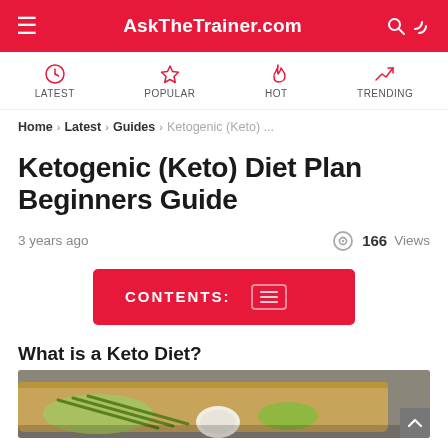AskTheTrainer.com
LATEST  POPULAR  HOT  TRENDING
Home › Latest › Guides › Ketogenic (Keto) ...
Ketogenic (Keto) Diet Plan Beginners Guide
3 years ago   166 Views
CONTENTS:
What is a Keto Diet?
[Figure (photo): Photo of keto diet food on a cutting board — vegetables including green onions and other produce visible]